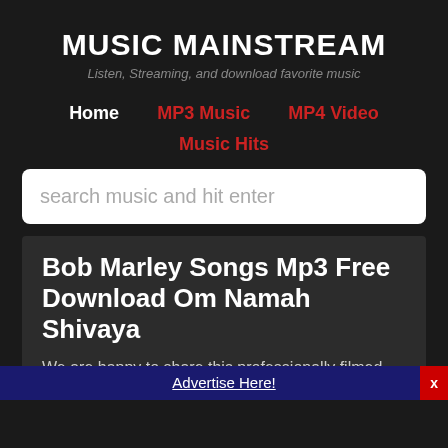MUSIC MAINSTREAM
Listen, Streaming, and download favorite music
Home
MP3 Music
MP4 Video
Music Hits
search music and hit enter
Bob Marley Songs Mp3 Free Download Om Namah Shivaya
We are happy to share this professionally filmed and recorded video of Krishna Das singing "Om
Advertise Here!